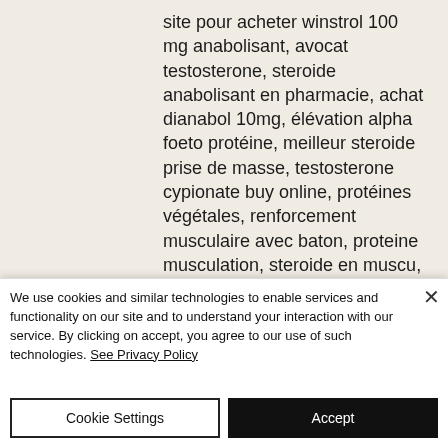site pour acheter winstrol 100 mg anabolisant, avocat testosterone, steroide anabolisant en pharmacie, achat dianabol 10mg, élévation alpha foeto protéine, meilleur steroide prise de masse, testosterone cypionate buy online, protéines végétales, renforcement musculaire avec baton, proteine musculation, steroide en muscu, clenbuterol pro avis, logo endurance shop, entraînement de football exercices, anabolisant naturel achat, meilleur prix en pharmacie pour anavar au utrecht, meilleur site achat steroide, trt testosterone achat,
We use cookies and similar technologies to enable services and functionality on our site and to understand your interaction with our service. By clicking on accept, you agree to our use of such technologies. See Privacy Policy
Cookie Settings
Accept